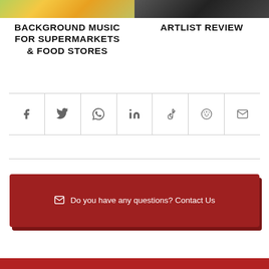[Figure (photo): Fruit and produce at a supermarket, colorful green and yellow items]
[Figure (photo): Dark image, possibly a person or instrument, black and grey tones]
BACKGROUND MUSIC FOR SUPERMARKETS & FOOD STORES
ARTLIST REVIEW
[Figure (infographic): Social share icon bar with Facebook, Twitter, WhatsApp, LinkedIn, Tumblr, Reddit, and Email icons separated by vertical dividers]
[Figure (infographic): Red contact box with mail icon and text: Do you have any questions? Contact Us]